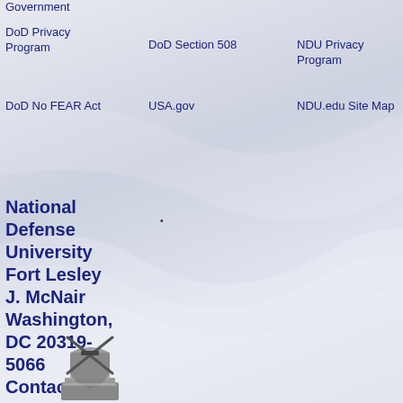Government
DoD Privacy Program
DoD Section 508
NDU Privacy Program
DoD No FEAR Act
USA.gov
NDU.edu Site Map
National Defense University
Fort Lesley J. McNair
Washington, DC 20319-5066
Contact NDU
[Figure (logo): National Defense University seal/emblem showing crossed swords and shield on a pedestal]